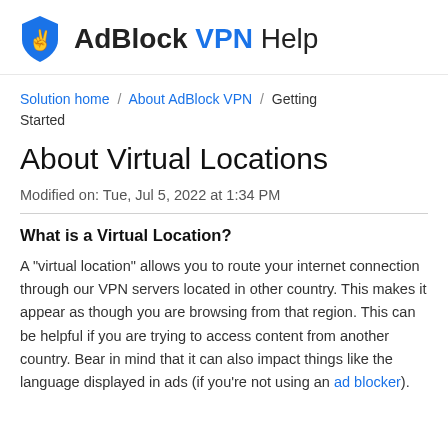AdBlock VPN Help
Solution home / About AdBlock VPN / Getting Started
About Virtual Locations
Modified on: Tue, Jul 5, 2022 at 1:34 PM
What is a Virtual Location?
A "virtual location" allows you to route your internet connection through our VPN servers located in other country. This makes it appear as though you are browsing from that region. This can be helpful if you are trying to access content from another country. Bear in mind that it can also impact things like the language displayed in ads (if you're not using an ad blocker).